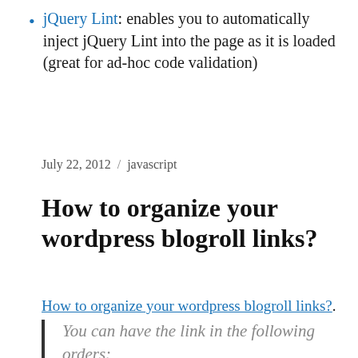jQuery Lint: enables you to automatically inject jQuery Lint into the page as it is loaded (great for ad-hoc code validation)
July 22, 2012 / javascript
How to organize your wordpress blogroll links?
How to organize your wordpress blogroll links?.
You can have the link in the following orders:
Orderby